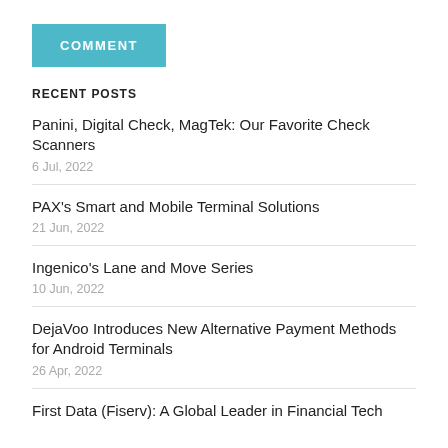COMMENT
RECENT POSTS
Panini, Digital Check, MagTek: Our Favorite Check Scanners
6 Jul, 2022
PAX's Smart and Mobile Terminal Solutions
21 Jun, 2022
Ingenico's Lane and Move Series
10 Jun, 2022
DejaVoo Introduces New Alternative Payment Methods for Android Terminals
26 Apr, 2022
First Data (Fiserv): A Global Leader in Financial Tech